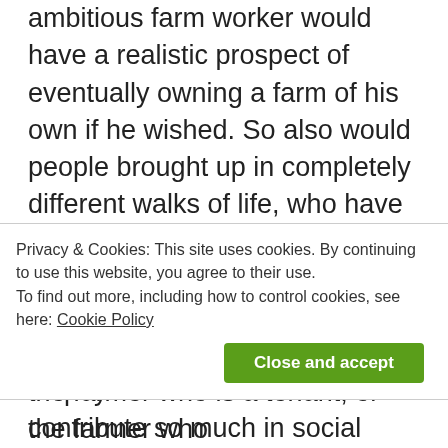ambitious farm worker would have a realistic prospect of eventually owning a farm of his own if he wished. So also would people brought up in completely different walks of life, who have the interest and ambition to become farmers. Better conditions for farm workers would mean that the general taxpayer would not need to contribute so much in social security. It would also point the way towards a really successful agriculture, which would not need constant injections of taxpayers' money, or fiscal devices to compel the consumer to pay
Privacy & Cookies: This site uses cookies. By continuing to use this website, you agree to their use.
To find out more, including how to control cookies, see here: Cookie Policy
the farmer who is a tenant, or the farmer who